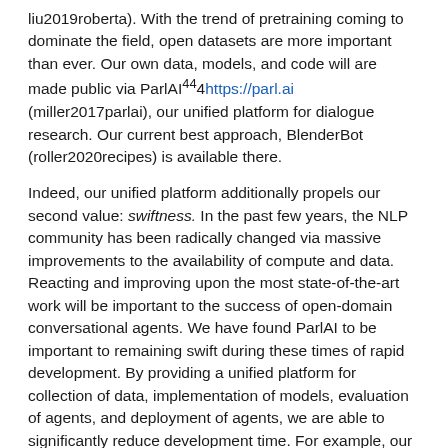liu2019roberta). With the trend of pretraining coming to dominate the field, open datasets are more important than ever. Our own data, models, and code will are made public via ParlAI⁴⁴4https://parl.ai (miller2017parlai), our unified platform for dialogue research. Our current best approach, BlenderBot (roller2020recipes) is available there.
Indeed, our unified platform additionally propels our second value: swiftness. In the past few years, the NLP community has been radically changed via massive improvements to the availability of compute and data. Reacting and improving upon the most state-of-the-art work will be important to the success of open-domain conversational agents. We have found ParlAI to be important to remaining swift during these times of rapid development. By providing a unified platform for collection of data, implementation of models, evaluation of agents, and deployment of agents, we are able to significantly reduce development time. For example, our recent development of Polyencoders (humeau2019polyencoder) required no modification to be evaluated using our new evaluation framework (li2019acute).
We also prioritize privacy